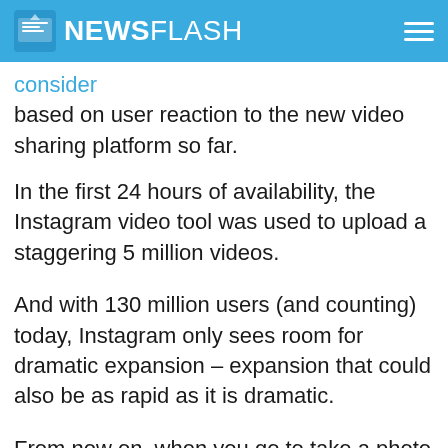NEWSFLASH
consider
based on user reaction to the new video sharing platform so far.
In the first 24 hours of availability, the Instagram video tool was used to upload a staggering 5 million videos.
And with 130 million users (and counting) today, Instagram only sees room for dramatic expansion – expansion that could also be as rapid as it is dramatic.
From now on, when you go to take a photo on